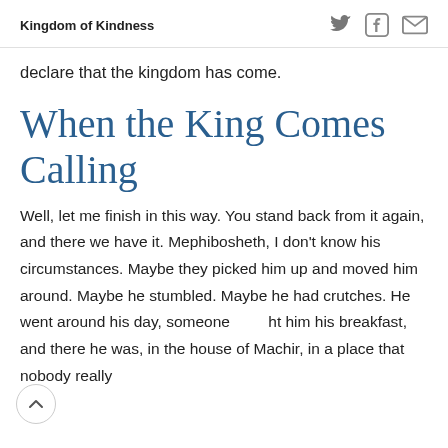Kingdom of Kindness
declare that the kingdom has come.
When the King Comes Calling
Well, let me finish in this way. You stand back from it again, and there we have it. Mephibosheth, I don’t know his circumstances. Maybe they picked him up and moved him around. Maybe he stumbled. Maybe he had crutches. He went around his day, someone brought him his breakfast, and there he was, in the house of Machir, in a place that nobody really